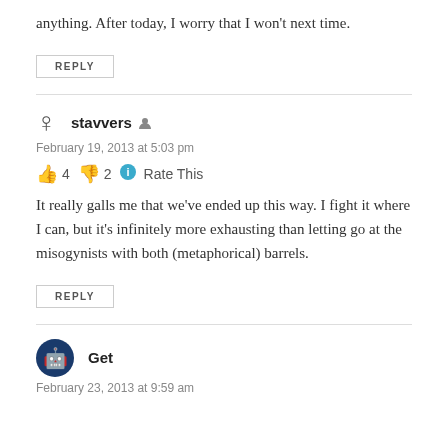anything. After today, I worry that I won't next time.
REPLY
stavvers
February 19, 2013 at 5:03 pm
👍 4 👎 2 Rate This
It really galls me that we've ended up this way. I fight it where I can, but it's infinitely more exhausting than letting go at the misogynists with both (metaphorical) barrels.
REPLY
Get
February 23, 2013 at 9:59 am